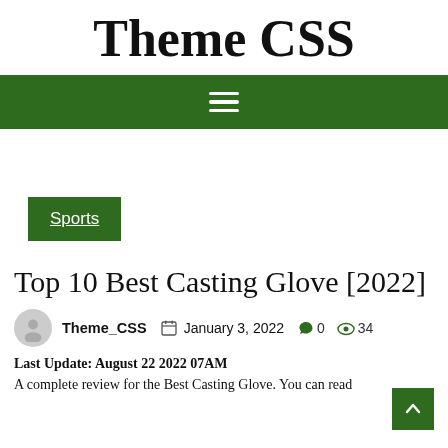Theme CSS
[Figure (other): Green navigation bar with hamburger menu icon (three white horizontal lines)]
Sports
Top 10 Best Casting Glove [2022]
Theme_CSS  January 3, 2022  0  34
Last Update: August 22 2022 07AM
A complete review for the Best Casting Glove. You can read